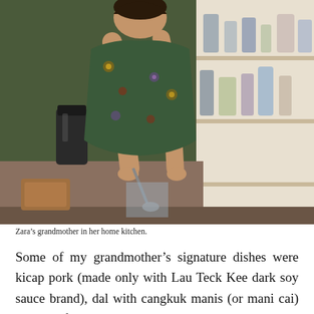[Figure (photo): An elderly woman cooking in her home kitchen, standing at a counter with shelves of jars and bottles behind her, wearing a floral patterned top.]
Zara’s grandmother in her home kitchen.
Some of my grandmother’s signature dishes were kicap pork (made only with Lau Teck Kee dark soy sauce brand), dal with cangkuk manis (or mani cai) and the aforementioned orh oh bak. The combination of yam and pork together made orh oh bak a very distinguishable Hakka dish, which made sense in our family as Hakka was the primary language in my father’s home. My mother had also learned to make this particular yam dish from her own grandmother, who was of Hakka lineage. When she found out that it was my